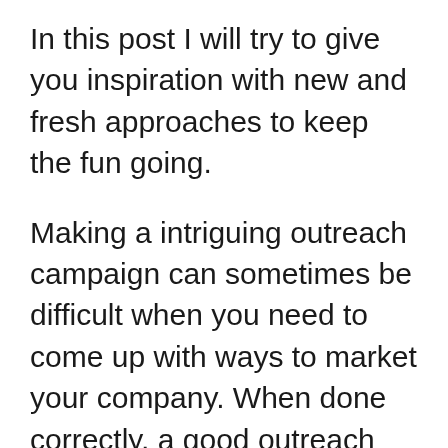In this post I will try to give you inspiration with new and fresh approaches to keep the fun going.
Making a intriguing outreach campaign can sometimes be difficult when you need to come up with ways to market your company. When done correctly, a good outreach campaign captures the reader's attention. You need to keep the audiences immersed in the story, and they